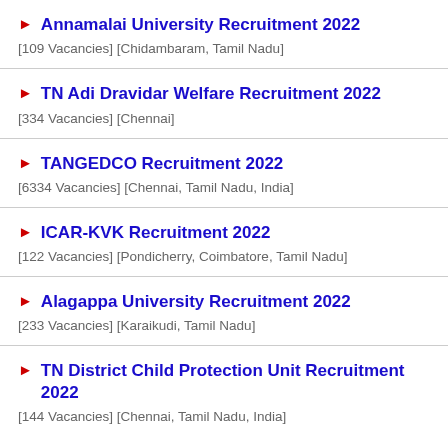► Annamalai University Recruitment 2022
[109 Vacancies] [Chidambaram, Tamil Nadu]
► TN Adi Dravidar Welfare Recruitment 2022
[334 Vacancies] [Chennai]
► TANGEDCO Recruitment 2022
[6334 Vacancies] [Chennai, Tamil Nadu, India]
► ICAR-KVK Recruitment 2022
[122 Vacancies] [Pondicherry, Coimbatore, Tamil Nadu]
► Alagappa University Recruitment 2022
[233 Vacancies] [Karaikudi, Tamil Nadu]
► TN District Child Protection Unit Recruitment 2022
[144 Vacancies] [Chennai, Tamil Nadu, India]